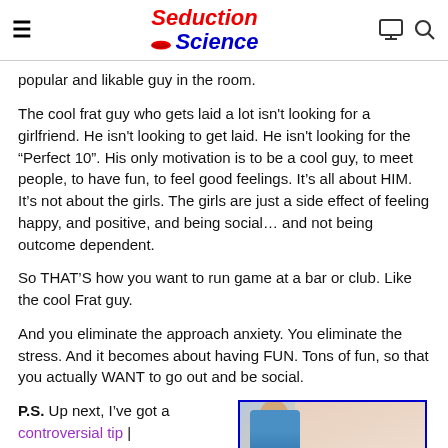Seduction Science [navigation header with logo, hamburger menu, monitor icon, search icon]
popular and likable guy in the room.
The cool frat guy who gets laid a lot isn't looking for a girlfriend. He isn't looking to get laid. He isn't looking for the “Perfect 10”. His only motivation is to be a cool guy, to meet people, to have fun, to feel good feelings. It’s all about HIM. It’s not about the girls. The girls are just a side effect of feeling happy, and positive, and being social… and not being outcome dependent.
So THAT’S how you want to run game at a bar or club. Like the cool Frat guy.
And you eliminate the approach anxiety. You eliminate the stress. And it becomes about having FUN. Tons of fun, so that you actually WANT to go out and be social.
P.S. Up next, I’ve got a controversial tip |
[Figure (photo): Thumbnail photo showing a man in a blue shirt on the left and a woman on the right with a golden/warm background]